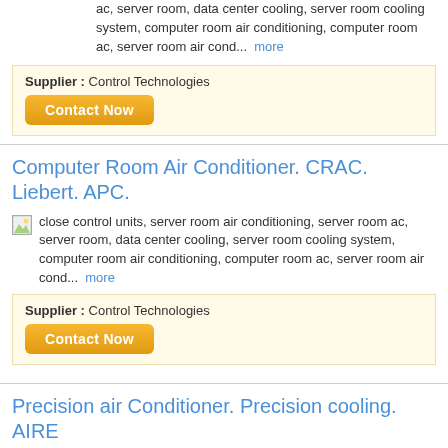ac, server room, data center cooling, server room cooling system, computer room air conditioning, computer room ac, server room air cond... more
Supplier : Control Technologies
Computer Room Air Conditioner. CRAC. Liebert. APC.
[Figure (photo): Thumbnail image for Computer Room Air Conditioner. CRAC. Liebert. APC.]
close control units, server room air conditioning, server room ac, server room, data center cooling, server room cooling system, computer room air conditioning, computer room ac, server room air cond... more
Supplier : Control Technologies
Precision air Conditioner. Precision cooling. AIRE
[Figure (photo): Thumbnail image for Precision air Conditioner. Precision cooling. AIRE]
close control units, server room air conditioning, server room ac, server room, data center cooling, server room cooling system, computer room air conditioning, computer room ac,